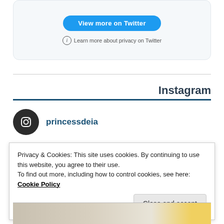[Figure (screenshot): Twitter card with 'View more on Twitter' button and privacy note]
Instagram
princessdeia
Privacy & Cookies: This site uses cookies. By continuing to use this website, you agree to their use.
To find out more, including how to control cookies, see here: Cookie Policy
Close and accept